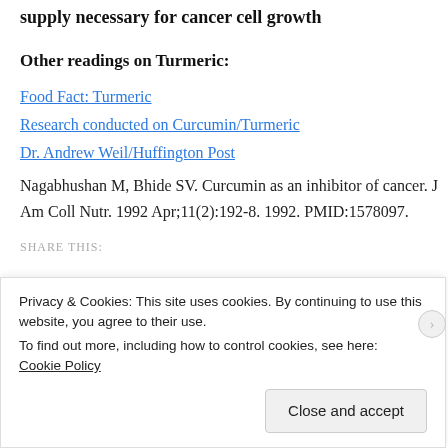supply necessary for cancer cell growth
Other readings on Turmeric:
Food Fact: Turmeric
Research conducted on Curcumin/Turmeric
Dr. Andrew Weil/Huffington Post
Nagabhushan M, Bhide SV. Curcumin as an inhibitor of cancer. J Am Coll Nutr. 1992 Apr;11(2):192-8. 1992. PMID:1578097.
SHARE THIS:
Privacy & Cookies: This site uses cookies. By continuing to use this website, you agree to their use.
To find out more, including how to control cookies, see here: Cookie Policy
Close and accept